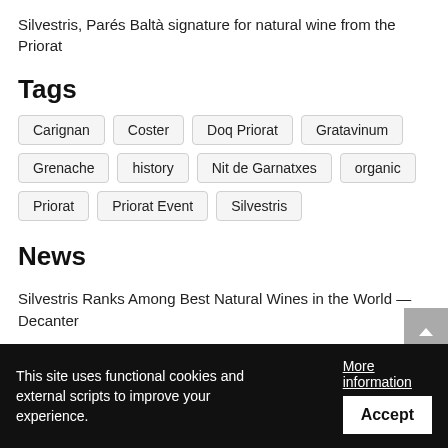Silvestris, Parés Baltà signature for natural wine from the Priorat
Tags
Carignan
Coster
Doq Priorat
Gratavinum
Grenache
history
Nit de Garnatxes
organic
Priorat
Priorat Event
Silvestris
News
Silvestris Ranks Among Best Natural Wines in the World — Decanter
Priorat, 1000 yrs of History, 60 yrs of D.O
The night of Garnatxes
This site uses functional cookies and external scripts to improve your experience.
More information
Accept